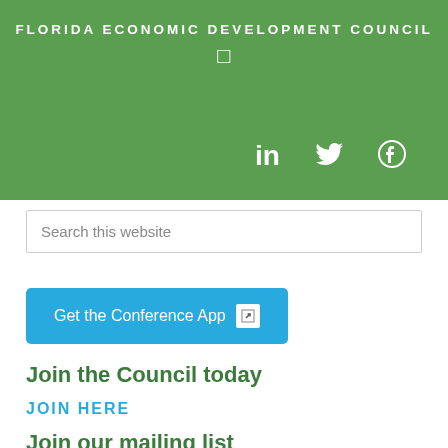FLORIDA ECONOMIC DEVELOPMENT COUNCIL
[Figure (other): Green header banner with organization name, a small icon, and social media icons for LinkedIn, Twitter, and Facebook]
Search this website
Get the Conference App
Join the Council today
JOIN HERE
Join our mailing list